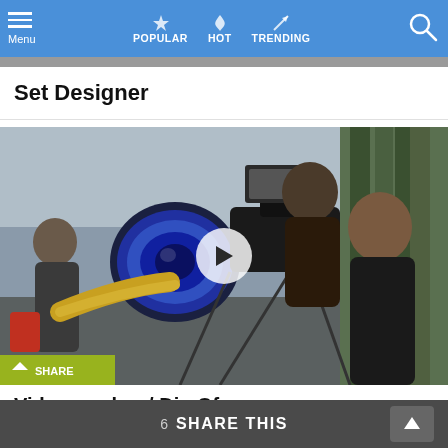Menu  POPULAR  HOT  TRENDING
Set Designer
[Figure (photo): Outdoor film set scene with people operating a large camera/lens on a tripod; one person wears yellow gloves pointing toward camera; another person stands behind operating equipment; trees in background; play button overlay in center; logo overlay bottom left]
Videographer / Dir. Of Photography
6  SHARE THIS